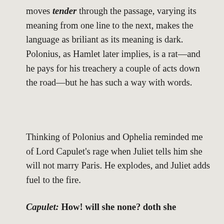moves tender through the passage, varying its meaning from one line to the next, makes the language as briliant as its meaning is dark. Polonius, as Hamlet later implies, is a rat—and he pays for his treachery a couple of acts down the road—but he has such a way with words.
Thinking of Polonius and Ophelia reminded me of Lord Capulet's rage when Juliet tells him she will not marry Paris. He explodes, and Juliet adds fuel to the fire.
Capulet: How! will she none? doth she